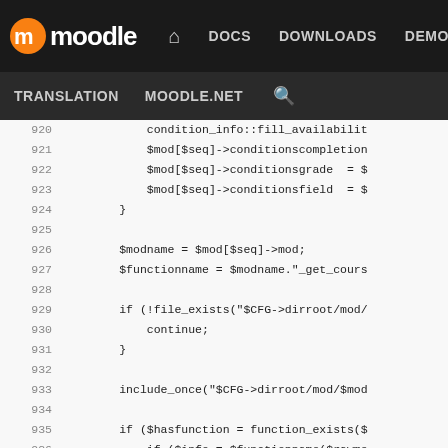Moodle — DOCS DOWNLOADS DEMO TRACKER DEV | TRANSLATION MOODLE.NET [search]
[Figure (screenshot): Moodle developer site top navigation bar with logo, nav links (DOCS, DOWNLOADS, DEMO, TRACKER, DEV highlighted in blue), and secondary nav (TRANSLATION, MOODLE.NET, search icon)]
PHP source code lines 919-945 from Moodle codebase showing course module loading logic including condition_info::fill_availability, $mod[$seq]->conditionscompletion, $mod[$seq]->conditionsgrade, $mod[$seq]->conditionsfield, $modname, $functionname, file_exists, include_once, function_exists, $info->icon, $info->iconcomponent, $info->name checks